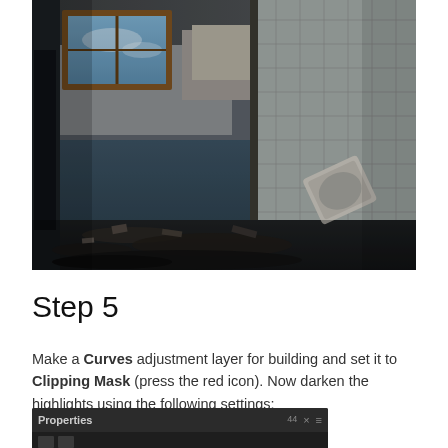[Figure (photo): Photograph of an abandoned, dilapidated interior room with damaged walls, broken tiles on the right, a broken window with wooden frame at the upper left showing a cloudy sky, debris and rubble on the floor, and a tipped-over metal container.]
Step 5
Make a Curves adjustment layer for building and set it to Clipping Mask (press the red icon). Now darken the highlights using the following settings:
[Figure (screenshot): Screenshot of a Photoshop Properties panel showing a dark-themed UI with 'Properties' label in the header bar and panel icons below.]